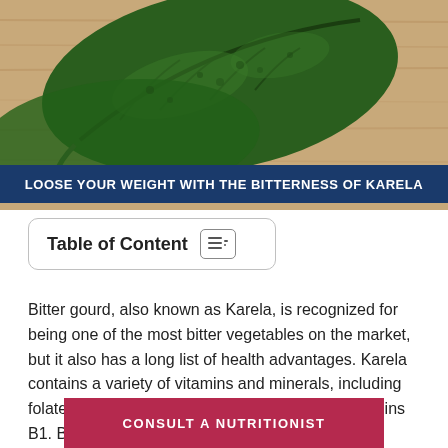[Figure (photo): Photo of bitter gourd (karela) leaves on a wooden surface, viewed from above. Dark green leafy vegetable against a light wood grain background.]
LOOSE YOUR WEIGHT WITH THE BITTERNESS OF KARELA
Table of Content
Bitter gourd, also known as Karela, is recognized for being one of the most bitter vegetables on the market, but it also has a long list of health advantages. Karela contains a variety of vitamins and minerals, including folate, zinc, iron, and magnesium, as well as vitamins B1. B2. B3. and C. It also contains a lot of
CONSULT A NUTRITIONIST